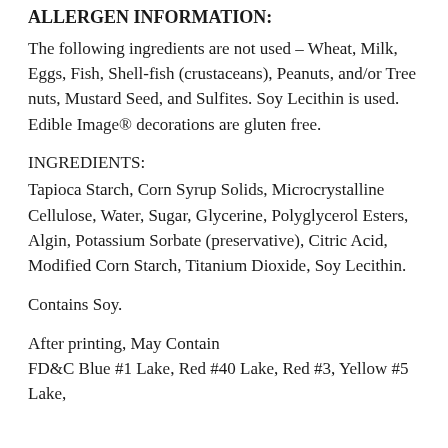ALLERGEN INFORMATION:
The following ingredients are not used – Wheat, Milk, Eggs, Fish, Shell-fish (crustaceans), Peanuts, and/or Tree nuts, Mustard Seed, and Sulfites. Soy Lecithin is used. Edible Image® decorations are gluten free.
INGREDIENTS:
Tapioca Starch, Corn Syrup Solids, Microcrystalline Cellulose, Water, Sugar, Glycerine, Polyglycerol Esters, Algin, Potassium Sorbate (preservative), Citric Acid, Modified Corn Starch, Titanium Dioxide, Soy Lecithin.
Contains Soy.
After printing, May Contain
FD&C Blue #1 Lake, Red #40 Lake, Red #3, Yellow #5 Lake,